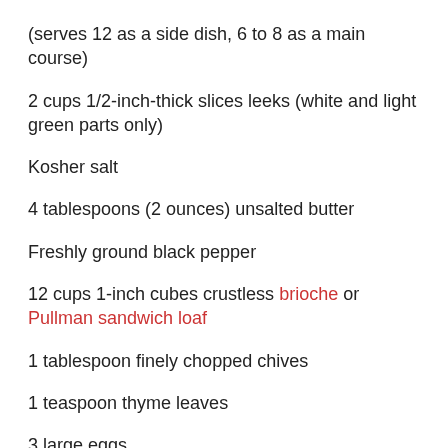(serves 12 as a side dish, 6 to 8 as a main course)
2 cups 1/2-inch-thick slices leeks (white and light green parts only)
Kosher salt
4 tablespoons (2 ounces) unsalted butter
Freshly ground black pepper
12 cups 1-inch cubes crustless brioche or Pullman sandwich loaf
1 tablespoon finely chopped chives
1 teaspoon thyme leaves
3 large eggs
3 cups whole milk
2 cups heavy cream